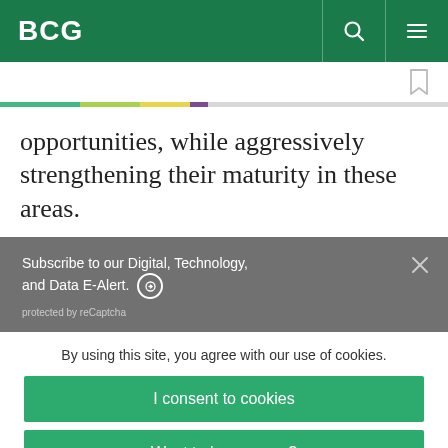BCG
opportunities, while aggressively strengthening their maturity in these areas.
Subscribe to our Digital, Technology, and Data E-Alert. ➔
protected by reCaptcha
By using this site, you agree with our use of cookies.
I consent to cookies
Want to know more?
Read our Cookie Policy